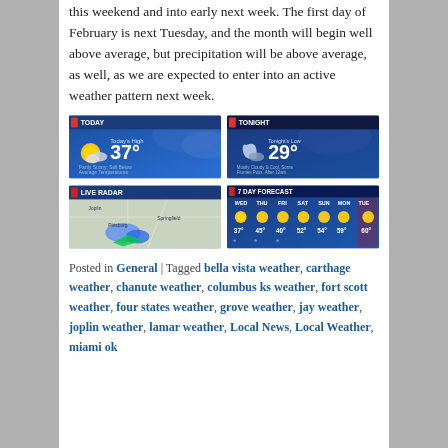this weekend and into early next week. The first day of February is next Tuesday, and the month will begin well above average, but precipitation will be above average, as well, as we are expected to enter into an active weather pattern next week.
[Figure (screenshot): TODAY weather forecast screenshot showing 37° Partly Sunny, Still Below Average Temperatures]
[Figure (screenshot): TONIGHT weather forecast screenshot showing 29° Mostly Cloudy & Cool, Some Flurries Possible After 12am]
[Figure (screenshot): Live Radar map screenshot showing precipitation over a regional map]
[Figure (screenshot): 7 Day Forecast screenshot showing WED 37°, THU 45°, FRI 40°, SAT 52°, SUN 54°, MON 59°, TUE 60°]
Posted in General | Tagged bella vista weather, carthage weather, chanute weather, columbus ks weather, fort scott weather, four states weather, grove weather, jay weather, joplin weather, lamar weather, Local News, Local Weather, miami ok